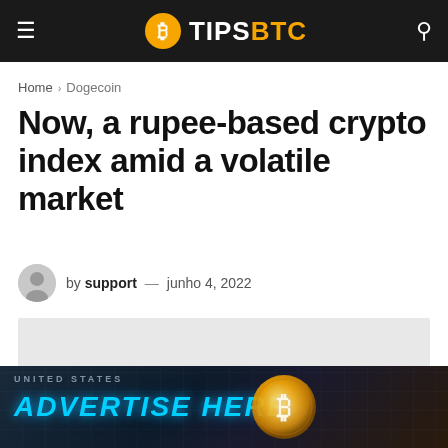TIPSBTC
Home > Dogecoin
Now, a rupee-based crypto index amid a volatile market
by support — junho 4, 2022
[Figure (other): Light gray article image placeholder]
[Figure (other): Advertise Here banner with bitcoin coin on dark map background]